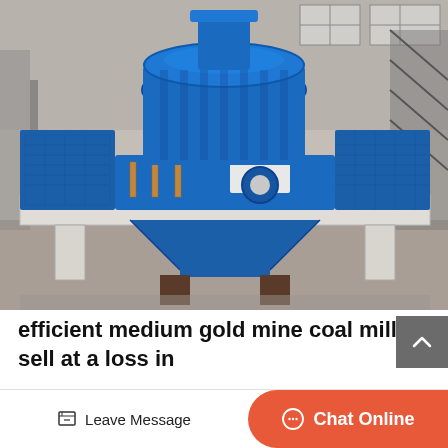[Figure (photo): A large blue industrial coal mill / VSI crusher machine photographed in a factory/warehouse setting. The machine is predominantly blue with white base supports, situated on a platform. Industrial building structure visible in the background.]
efficient medium gold mine coal mill sell at a loss in
We have efficient medium gold...
Leave Message
Chat Online